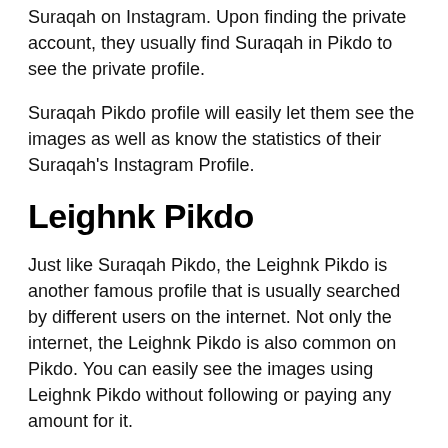Suraqah on Instagram. Upon finding the private account, they usually find Suraqah in Pikdo to see the private profile.
Suraqah Pikdo profile will easily let them see the images as well as know the statistics of their Suraqah's Instagram Profile.
Leighnk Pikdo
Just like Suraqah Pikdo, the Leighnk Pikdo is another famous profile that is usually searched by different users on the internet. Not only the internet, the Leighnk Pikdo is also common on Pikdo. You can easily see the images using Leighnk Pikdo without following or paying any amount for it.
Johnathan_alexander09 pikdo